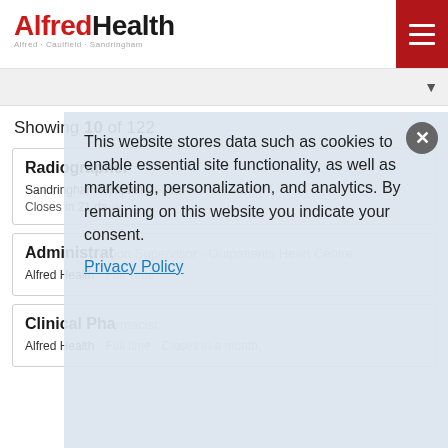AlfredHealth
Showing 10 of 122
Radiographer
Sandringham Hospital · Full Time · Fixed Term · Closes in 21 days
Administration Supervisor - Outpatients, Heart Centre
Alfred Health · Full Time
Clinical Pharmacist
Alfred Health · Full time · Closes in a month
This website stores data such as cookies to enable essential site functionality, as well as marketing, personalization, and analytics. By remaining on this website you indicate your consent.
Privacy Policy